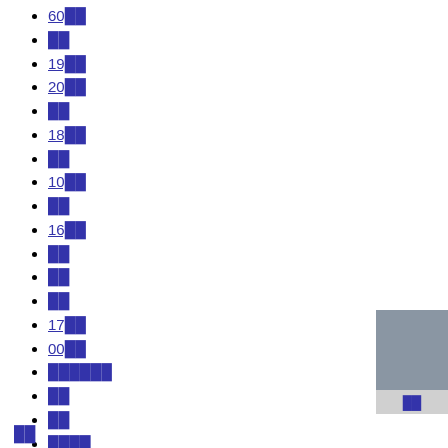60██
██
19██
20██
██
18██
██
10██
██
16██
██
██
██
17██
00██
██████
██
██
████
███
██
█████
15██
██